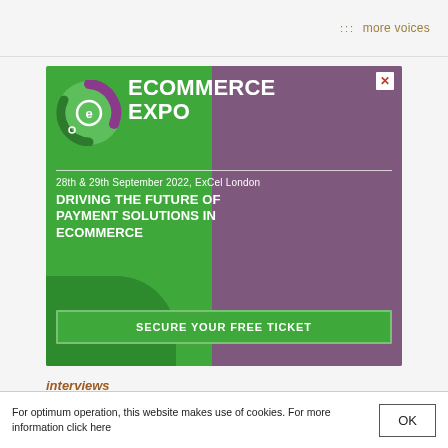more voices
[Figure (advertisement): Ecommerce Expo advertisement. Green background with purple photo overlay showing crowd. Logo with circular e symbol. Text: ECOMMERCE EXPO, 28th & 29th September 2022, ExCel London, DRIVING THE FUTURE OF PAYMENT SOLUTIONS IN eCOMMERCE. Button: SECURE YOUR FREE TICKET.]
interviews
For optimum operation, this website makes use of cookies. For more information click here
OK